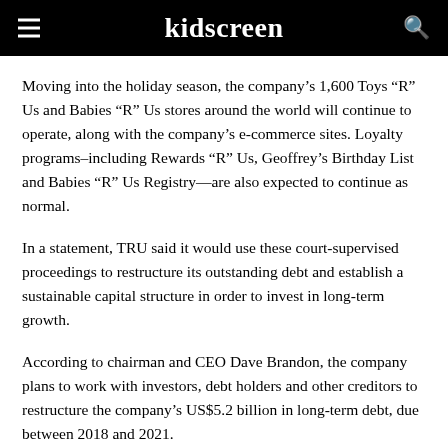kidscreen
Moving into the holiday season, the company’s 1,600 Toys “R” Us and Babies “R” Us stores around the world will continue to operate, along with the company’s e-commerce sites. Loyalty programs–including Rewards “R” Us, Geoffrey’s Birthday List and Babies “R” Us Registry—are also expected to continue as normal.
In a statement, TRU said it would use these court-supervised proceedings to restructure its outstanding debt and establish a sustainable capital structure in order to invest in long-term growth.
According to chairman and CEO Dave Brandon, the company plans to work with investors, debt holders and other creditors to restructure the company’s US$5.2 billion in long-term debt, due between 2018 and 2021.